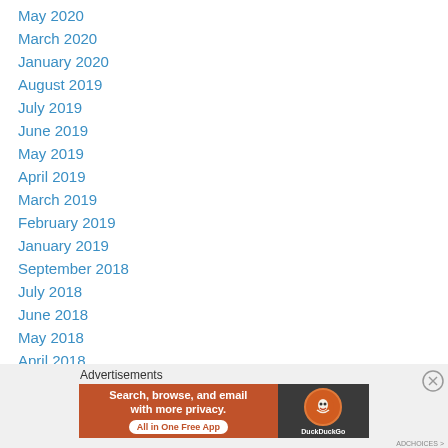May 2020
March 2020
January 2020
August 2019
July 2019
June 2019
May 2019
April 2019
March 2019
February 2019
January 2019
September 2018
July 2018
June 2018
May 2018
April 2018
March 2018
[Figure (infographic): DuckDuckGo advertisement banner: Search, browse, and email with more privacy. All in One Free App.]